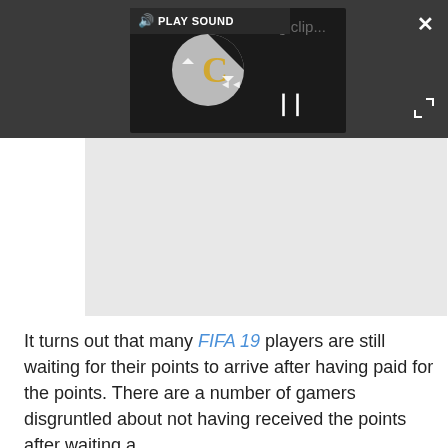[Figure (screenshot): A video player UI embedded in a dark grey bar. Shows a 'PLAY SOUND' button with speaker icon, a video thumbnail area with a loading spinner (grey circle with gold C letter and refresh arrows), a pause button (two vertical bars), and an expand/close icon (X) in the top right corner. Also shows a fullscreen icon in the bottom right of the page.]
It turns out that many FIFA 19 players are still waiting for their points to arrive after having paid for the points. There are a number of gamers disgruntled about not having received the points after waiting a